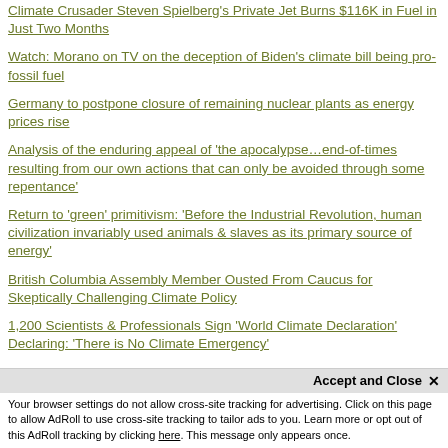Climate Crusader Steven Spielberg's Private Jet Burns $116K in Fuel in Just Two Months
Watch: Morano on TV on the deception of Biden's climate bill being pro-fossil fuel
Germany to postpone closure of remaining nuclear plants as energy prices rise
Analysis of the enduring appeal of 'the apocalypse…end-of-times resulting from our own actions that can only be avoided through some repentance'
Return to 'green' primitivism: 'Before the Industrial Revolution, human civilization invariably used animals & slaves as its primary source of energy'
British Columbia Assembly Member Ousted From Caucus for Skeptically Challenging Climate Policy
1,200 Scientists & Professionals Sign 'World Climate Declaration' Declaring: 'There is No Climate Emergency'
Fauci calls it quits: 'Lifetime government bureaucrat resigns, following 54 year career of corruption, deceit, death &
Your browser settings do not allow cross-site tracking for advertising. Click on this page to allow AdRoll to use cross-site tracking to tailor ads to you. Learn more or opt out of this AdRoll tracking by clicking here. This message only appears once.